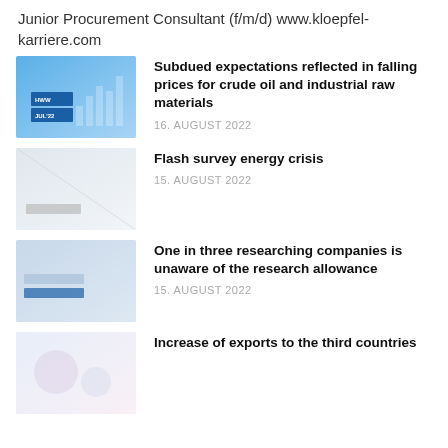Junior Procurement Consultant (f/m/d) www.kloepfel-karriere.com
[Figure (photo): Blue abstract financial chart background with HWW and JUL'22 text overlay]
Subdued expectations reflected in falling prices for crude oil and industrial raw materials
16. AUGUST 2022
[Figure (photo): Light grey/white blurred background with text overlay]
Flash survey energy crisis
15. AUGUST 2022
[Figure (photo): Light blue/grey map or document background with text overlay]
One in three researching companies is unaware of the research allowance
15. AUGUST 2022
[Figure (photo): Light pastel abstract background]
Increase of exports to the third countries